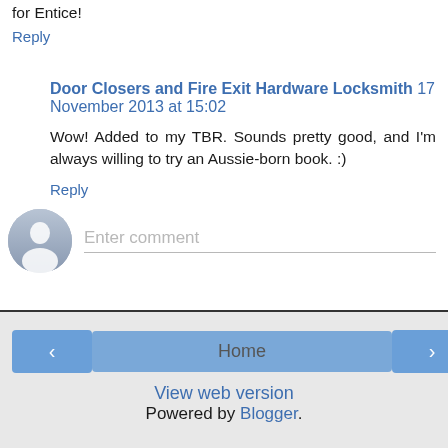for Entice!
Reply
Door Closers and Fire Exit Hardware Locksmith 17 November 2013 at 15:02
Wow! Added to my TBR. Sounds pretty good, and I'm always willing to try an Aussie-born book. :)
Reply
Enter comment
Home
View web version
Powered by Blogger.